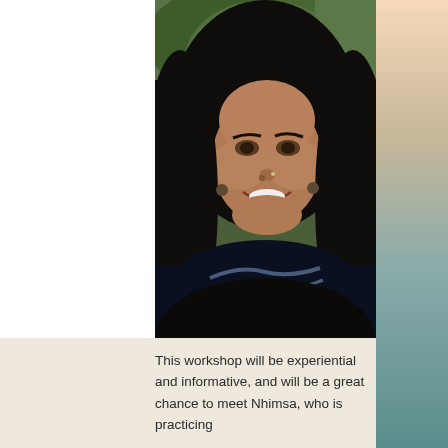[Figure (photo): Portrait photo of a woman with long dark hair, smiling, wearing a striped scarf, photographed outdoors with green foliage in the background.]
This workshop will be experiential and informative, and will be a great chance to meet Nhimsa, who is practicing